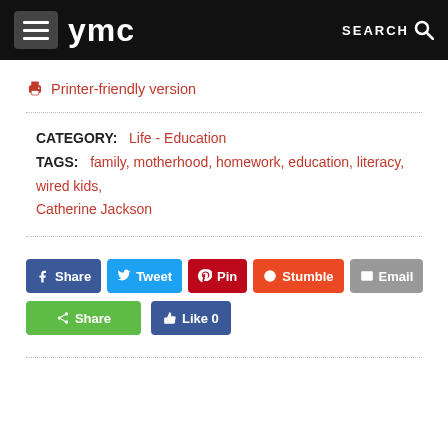ymc | SEARCH
🖨 Printer-friendly version
CATEGORY: Life - Education
TAGS: family, motherhood, homework, education, literacy, wired kids, Catherine Jackson
[Figure (screenshot): Social share buttons: Share (Facebook), Tweet, Pin, Stumble, Email, Share (green), Like 0 (Facebook)]